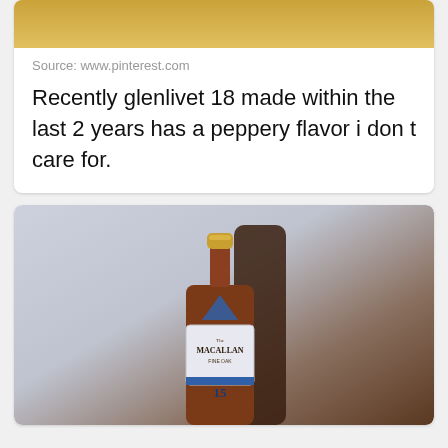[Figure (photo): Partial top view of a whisky bottle with amber liquid, cropped at top]
Source: www.pinterest.com
Recently glenlivet 18 made within the last 2 years has a peppery flavor i don t care for.
[Figure (photo): The Macallan Fine Oak 15 year old Scotch whisky bottle with blue label, gold cap, photographed against light grey background with second bottle behind it]